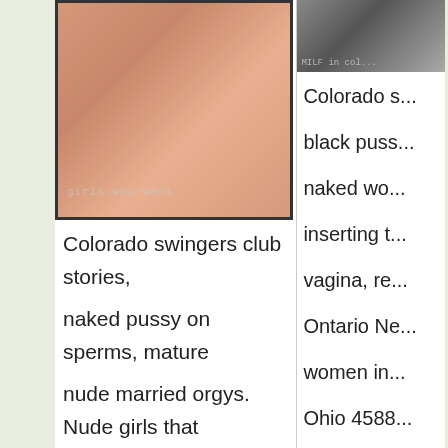[Figure (photo): Partial nude photo with watermark text 'girls who want']
Colorado swingers club stories, naked pussy on sperms, mature nude married orgys. Nude girls that workout and stay in shape. Real black woman naked. Married women needing sex partners in my
[Figure (photo): Thumbnail photo with overlay text 'MILF in col...']
Colorado s... black puss... naked wo... inserting t... vagina, re... Ontario Ne... women in... Ohio 4588...